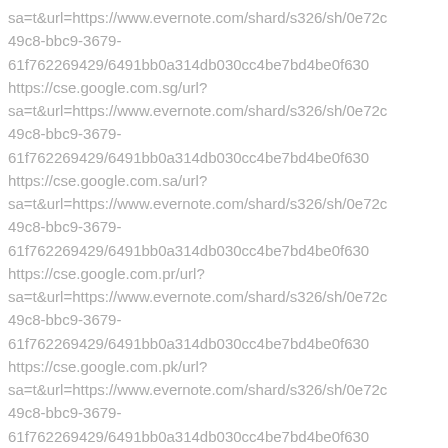sa=t&url=https://www.evernote.com/shard/s326/sh/0e72c49c8-bbc9-3679-61f762269429/6491bb0a314db030cc4be7bd4be0f630 https://cse.google.com.sg/url?sa=t&url=https://www.evernote.com/shard/s326/sh/0e72c49c8-bbc9-3679-61f762269429/6491bb0a314db030cc4be7bd4be0f630 https://cse.google.com.sa/url?sa=t&url=https://www.evernote.com/shard/s326/sh/0e72c49c8-bbc9-3679-61f762269429/6491bb0a314db030cc4be7bd4be0f630 https://cse.google.com.pr/url?sa=t&url=https://www.evernote.com/shard/s326/sh/0e72c49c8-bbc9-3679-61f762269429/6491bb0a314db030cc4be7bd4be0f630 https://cse.google.com.pk/url?sa=t&url=https://www.evernote.com/shard/s326/sh/0e72c49c8-bbc9-3679-61f762269429/6491bb0a314db030cc4be7bd4be0f630 https://cse.google.com.ph/url?